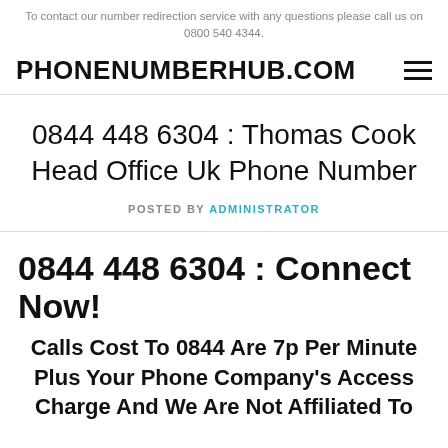To contact our number redirection service with any questions please call us on 0800 540 4344.
PHONENUMBERHUB.COM
0844 448 6304 : Thomas Cook Head Office Uk Phone Number
POSTED BY ADMINISTRATOR
0844 448 6304 : Connect Now!
Calls Cost To 0844 Are 7p Per Minute Plus Your Phone Company's Access Charge And We Are Not Affiliated To